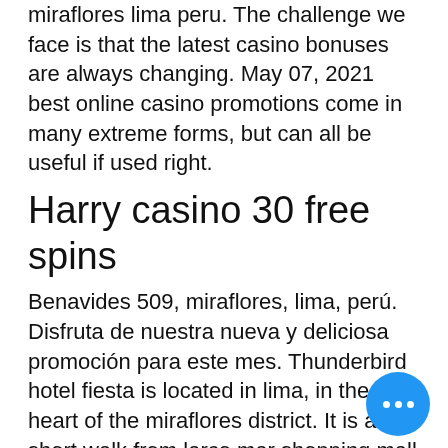miraflores lima peru. The challenge we face is that the latest casino bonuses are always changing. May 07, 2021 best online casino promotions come in many extreme forms, but can all be useful if used right.
Harry casino 30 free spins
Benavides 509, miraflores, lima, perú. Disfruta de nuestra nueva y deliciosa promoción para este mes. Thunderbird hotel fiesta is located in lima, in the heart of the miraflores district. It is a short walk from larco mar shopping mall and kennedy park. Thunderbird hotel fiesta &amp; casino (thunderbird fiesta hotel &amp; casino) - offering a casino, a sauna and a wellness area, thunderbird hotel fiesta &amp; casino. Hotel thunderbird fiesta hotel &amp; casino -